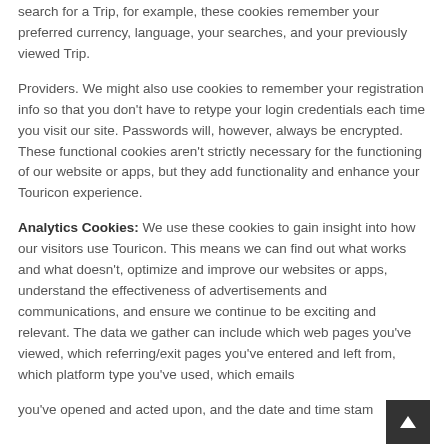search for a Trip, for example, these cookies remember your preferred currency, language, your searches, and your previously viewed Trip.
Providers. We might also use cookies to remember your registration info so that you don't have to retype your login credentials each time you visit our site. Passwords will, however, always be encrypted. These functional cookies aren't strictly necessary for the functioning of our website or apps, but they add functionality and enhance your Touricon experience.
Analytics Cookies: We use these cookies to gain insight into how our visitors use Touricon. This means we can find out what works and what doesn't, optimize and improve our websites or apps, understand the effectiveness of advertisements and communications, and ensure we continue to be exciting and relevant. The data we gather can include which web pages you've viewed, which referring/exit pages you've entered and left from, which platform type you've used, which emails
you've opened and acted upon, and the date and time stam...